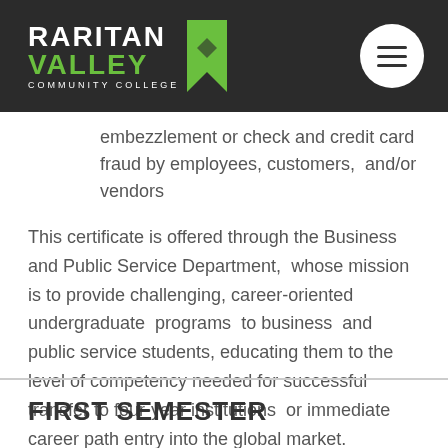[Figure (logo): Raritan Valley Community College logo with green bookmark icon on dark background, plus hamburger menu button]
embezzlement or check and credit card fraud by employees, customers,  and/or vendors
This certificate is offered through the Business and Public Service Department,  whose mission is to provide challenging, career-oriented undergraduate  programs  to business  and public service students, educating them to the level of competency needed for successful transfer to four-year institutions  or immediate career path entry into the global market.
FIRST SEMESTER